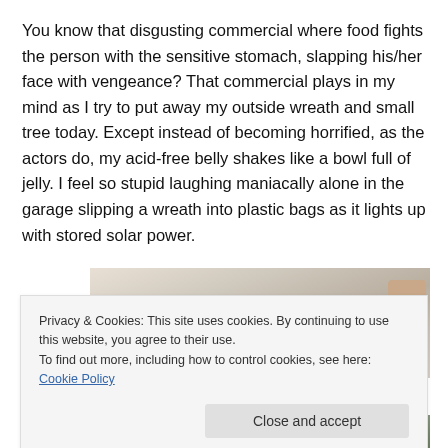You know that disgusting commercial where food fights the person with the sensitive stomach, slapping his/her face with vengeance? That commercial plays in my mind as I try to put away my outside wreath and small tree today. Except instead of becoming horrified, as the actors do, my acid-free belly shakes like a bowl full of jelly. I feel so stupid laughing maniacally alone in the garage slipping a wreath into plastic bags as it lights up with stored solar power.
[Figure (photo): Partial photo of a wreath being placed in a plastic bag, showing white plastic material and a hand in the upper right, with some greenery visible at the bottom]
Privacy & Cookies: This site uses cookies. By continuing to use this website, you agree to their use.
To find out more, including how to control cookies, see here: Cookie Policy
Close and accept